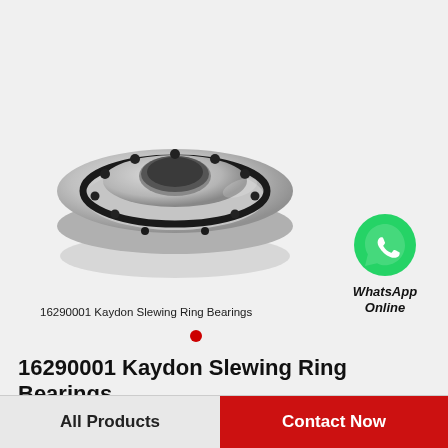[Figure (photo): Slewing ring bearing (16290001 Kaydon) shown from top/perspective view — round stainless steel bearing with bolt holes and a central bore, with WhatsApp Online icon and label overlay]
16290001 Kaydon Slewing Ring Bearings
16290001 Kaydon Slewing Ring Bearings
All Products
Contact Now